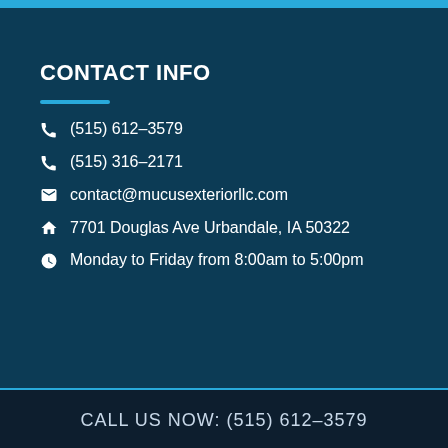CONTACT INFO
(515) 612-3579
(515) 316-2171
contact@mucusexteriorllc.com
7701 Douglas Ave Urbandale, IA 50322
Monday to Friday from 8:00am to 5:00pm
CALL US NOW: (515) 612-3579